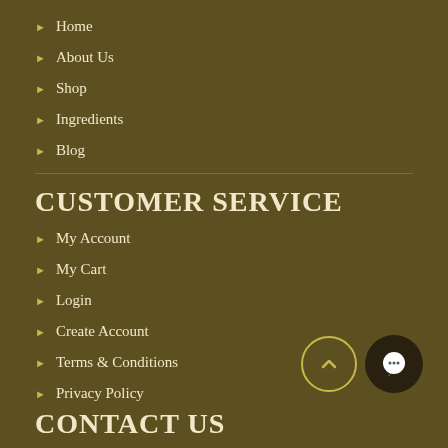Home
About Us
Shop
Ingredients
Blog
CUSTOMER SERVICE
My Account
My Cart
Login
Create Account
Terms & Conditions
Privacy Policy
CONTACT US